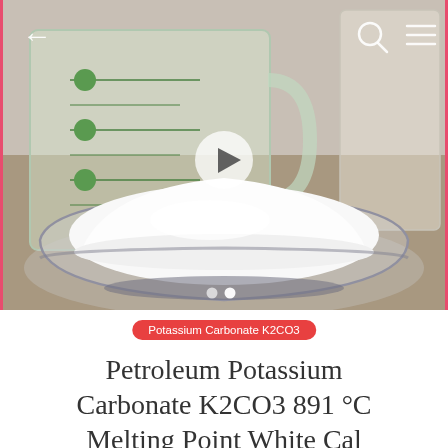[Figure (photo): Photo/video thumbnail showing a glass bowl filled with white powder (potassium carbonate) with a measuring cup and container in the background. Navigation icons (back arrow, search, menu) overlaid on top. Play button in center. Pagination dots at bottom of image. Pink/red border on sides.]
Potassium Carbonate K2CO3
Petroleum Potassium Carbonate K2CO3 891 °C Melting Point White Cal